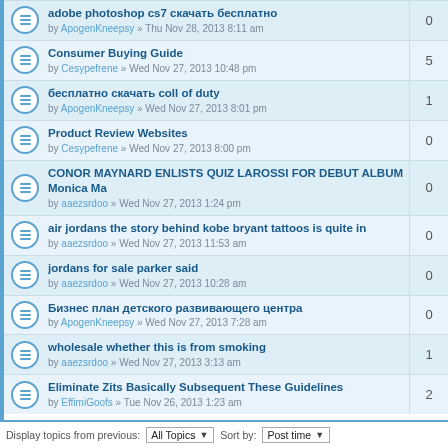adobe photoshop cs7 скачать бесплатно by ApogenKneepsy » Thu Nov 28, 2013 8:11 am | 0
Consumer Buying Guide by Cesypefrene » Wed Nov 27, 2013 10:48 pm | 5
бесплатно скачать coll of duty by ApogenKneepsy » Wed Nov 27, 2013 8:01 pm | 1
Product Review Websites by Cesypefrene » Wed Nov 27, 2013 8:00 pm | 0
CONOR MAYNARD ENLISTS QUIZ LAROSSI FOR DEBUT ALBUM Monica Ma by aaezsrdoo » Wed Nov 27, 2013 1:24 pm | 0
air jordans the story behind kobe bryant tattoos is quite in by aaezsrdoo » Wed Nov 27, 2013 11:53 am | 0
jordans for sale parker said by aaezsrdoo » Wed Nov 27, 2013 10:28 am | 0
Бизнес план детского развивающего центра by ApogenKneepsy » Wed Nov 27, 2013 7:28 am | 0
wholesale whether this is from smoking by aaezsrdoo » Wed Nov 27, 2013 3:13 am | 1
Eliminate Zits Basically Subsequent These Guidelines by EffimiGoofs » Tue Nov 26, 2013 1:23 am | 2
Display topics from previous: All Topics ▼ Sort by: Post time ▼